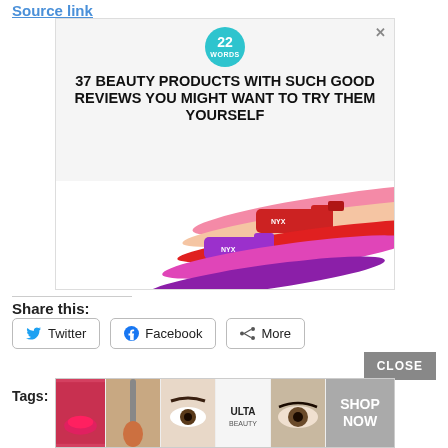Source link
[Figure (screenshot): Advertisement banner for '22 Words' website showing article titled '37 BEAUTY PRODUCTS WITH SUCH GOOD REVIEWS YOU MIGHT WANT TO TRY THEM YOURSELF' with lipstick product swatches in pink, peach, red, magenta and purple colors, plus NYX lip product tubes]
Share this:
Twitter  Facebook  More
Tags: dailymail
[Figure (screenshot): Bottom advertisement banner for ULTA beauty showing collage of beauty product images including lipstick, makeup brush, eye makeup, ULTA logo, and eye closeup, with SHOP NOW button]